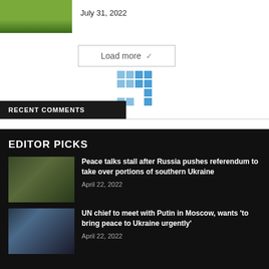[Figure (photo): Sports photo showing soccer players on a green field]
July 31, 2022
[Figure (other): Load more button with dropdown arrow and loading spinner grid in blue tones]
RECENT COMMENTS
EDITOR PICKS
[Figure (photo): Military tank with flags on a road]
Peace talks stall after Russia pushes referendum to take over portions of southern Ukraine
April 22, 2022
[Figure (photo): UN chief portrait of older man in front of UN Security Council backdrop]
UN chief to meet with Putin in Moscow, wants 'to bring peace to Ukraine urgently'
April 22, 2022